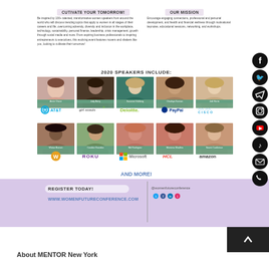CUTIVATE YOUR TOMORROW!
OUR MISSION
Be inspired by 100+ talented, transformative women speakers from around the world who will discuss trending topics that apply to women in all stages of their careers and life, overcoming adversity, diversity and inclusion in the workplace, technology, sustainability, personal finance, leadership, crisis management, growth through social media and more. From aspiring business professionals to inspiring entrepreneurs to executives, this evolving event features movers and shakers like you, looking to cultivate their tomorrow!
Encourage engaging connections, professional and personal development, and health and financial wellness through motivational keynotes, educational sessions, networking, and workshops.
2020 SPEAKERS INCLUDE:
[Figure (photo): Grid of 10 women speakers with names and company logos. Row 1: Annie Chave (AT&T), Judy Berry (Girl Scouts), Suzanne Vickberg (Deloitte), Chadnya Kannan (PayPal), Jodi Harris (Cisco). Row 2: Wivian Branon (W logo), Candice Guardou (Roku), Mel Rodriguez (Microsoft), Momena Ghadhia (HCL), Naomi Castleman (Amazon).]
AND MORE!
REGISTER TODAY!
WWW.WOMENFUTURECONFERENCE.COM
@womenfutureconference
About MENTOR New York